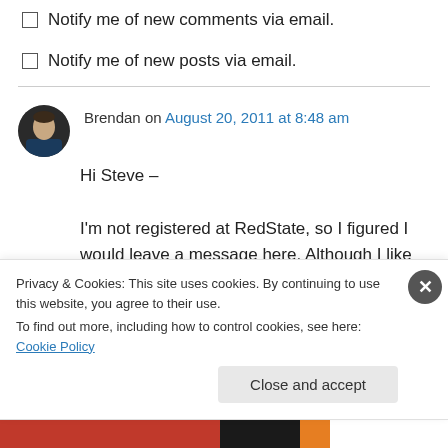Notify me of new comments via email.
Notify me of new posts via email.
Brendan on August 20, 2011 at 8:48 am
Hi Steve –
I'm not registered at RedState, so I figured I would leave a message here. Although I like your concept, its somewhat unworkable. Natural gas transmission lines are pressed to their limit,
Privacy & Cookies: This site uses cookies. By continuing to use this website, you agree to their use.
To find out more, including how to control cookies, see here: Cookie Policy
Close and accept